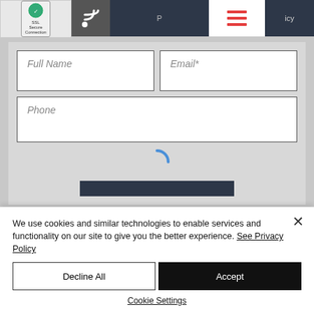[Figure (screenshot): Website screenshot showing a form with Full Name, Email*, and Phone input fields, SSL badge, RSS icon, navigation buttons, and a loading spinner]
We use cookies and similar technologies to enable services and functionality on our site to give you the better experience. See Privacy Policy
Decline All
Accept
Cookie Settings